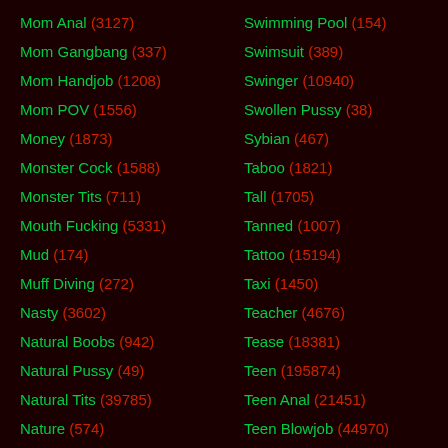Mom Anal (3127)
Mom Gangbang (337)
Mom Handjob (1208)
Mom POV (1556)
Money (1873)
Monster Cock (1588)
Monster Tits (711)
Mouth Fucking (5331)
Mud (174)
Muff Diving (272)
Nasty (3602)
Natural Boobs (942)
Natural Pussy (49)
Natural Tits (39785)
Nature (574)
Naughty (6338)
Swimming Pool (154)
Swimsuit (389)
Swinger (10940)
Swollen Pussy (38)
Sybian (467)
Taboo (1821)
Tall (1705)
Tanned (1007)
Tattoo (15194)
Taxi (1450)
Teacher (4676)
Tease (18381)
Teen (195874)
Teen Anal (21451)
Teen Blowjob (44970)
Teen Gangbang (3040)